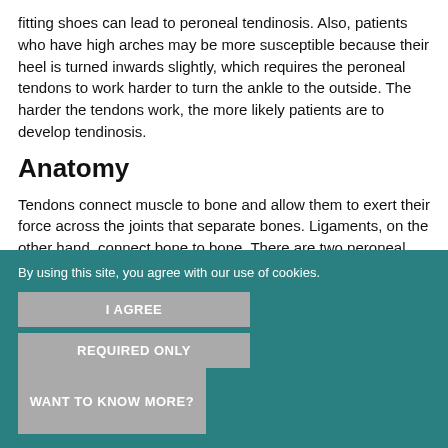fitting shoes can lead to peroneal tendinosis. Also, patients who have high arches may be more susceptible because their heel is turned inwards slightly, which requires the peroneal tendons to work harder to turn the ankle to the outside. The harder the tendons work, the more likely patients are to develop tendinosis.
Anatomy
Tendons connect muscle to bone and allow them to exert their force across the joints that separate bones. Ligaments, on the other hand, connect bone to bone. There are two peroneal tendons that run along the back of the fibula. The first is called the peroneus brevis. The term "brevis" implies short. It is called this because it has a shorter muscle and starts lower in the leg. It then runs down around the back of
By using this site, you agree with our use of cookies.
I AGREE
WANT TO KNOW MORE?
REQUIRED ONLY